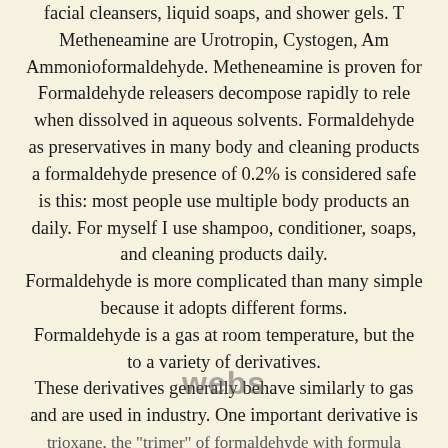facial cleansers, liquid soaps, and shower gels. The trade names for Metheneamine are Urotropin, Cystogen, Aminoform, and Ammonioformaldehyde. Metheneamine is proven for its effectiveness. Formaldehyde releasers decompose rapidly to release formaldehyde when dissolved in aqueous solvents. Formaldehyde releasers as preservatives in many body and cleaning products are accepted because a formaldehyde presence of 0.2% is considered safe. However, my concern is this: most people use multiple body products and cleaning products daily. For myself I use shampoo, conditioner, soaps, and cleaning products daily. Formaldehyde is more complicated than many simple chemicals because it adopts different forms. Formaldehyde is a gas at room temperature, but the gas can be converted to a variety of derivatives. These derivatives generally behave similarly to gaseous formaldehyde and are used in industry. One important derivative is trioxane, the "trimer" of formaldehyde with formula (CH2O)3. When dissolved in water, formaldehyde converts to H2C(OH)2, a compound with two hydroxy groups.